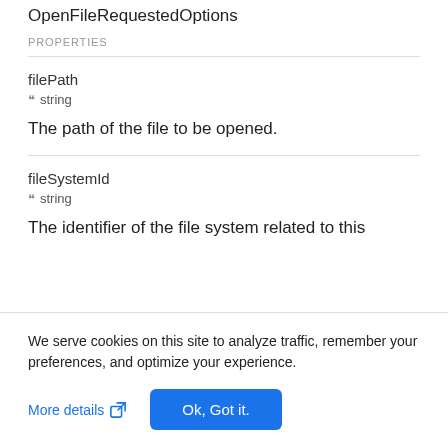OpenFileRequestedOptions
PROPERTIES
filePath
" string
The path of the file to be opened.
fileSystemId
" string
The identifier of the file system related to this
We serve cookies on this site to analyze traffic, remember your preferences, and optimize your experience.
More details
Ok, Got it.